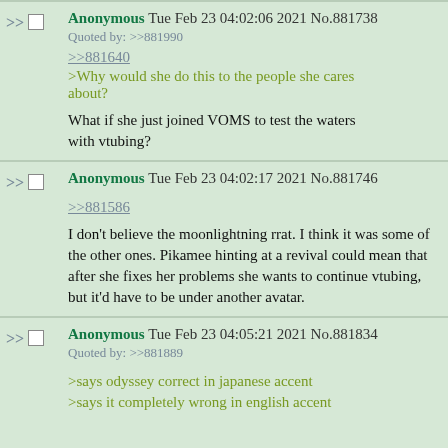Anonymous Tue Feb 23 04:02:06 2021 No.881738
Quoted by: >>881990
>>881640
>Why would she do this to the people she cares about?
What if she just joined VOMS to test the waters with vtubing?
Anonymous Tue Feb 23 04:02:17 2021 No.881746
>>881586
I don't believe the moonlightning rrat. I think it was some of the other ones. Pikamee hinting at a revival could mean that after she fixes her problems she wants to continue vtubing, but it'd have to be under another avatar.
Anonymous Tue Feb 23 04:05:21 2021 No.881834
Quoted by: >>881889
>says odyssey correct in japanese accent
>says it completely wrong in english accent